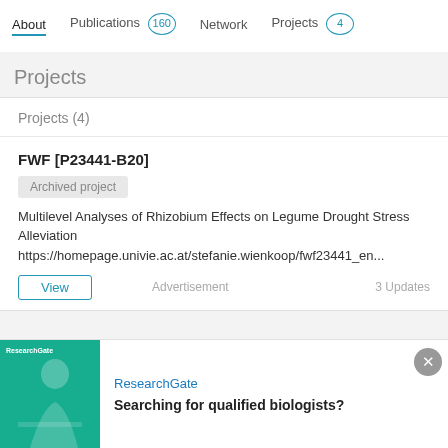About | Publications 160 | Network | Projects 4
Projects
Projects (4)
FWF [P23441-B20]
Archived project
Multilevel Analyses of Rhizobium Effects on Legume Drought Stress Alleviation
https://homepage.univie.ac.at/stefanie.wienkoop/fwf23441_en...
View | Advertisement | 3 Updates
[Figure (screenshot): ResearchGate advertisement banner showing a person at a desk with teal background and logo, with text 'Searching for qualified biologists?']
ResearchGate
Searching for qualified biologists?